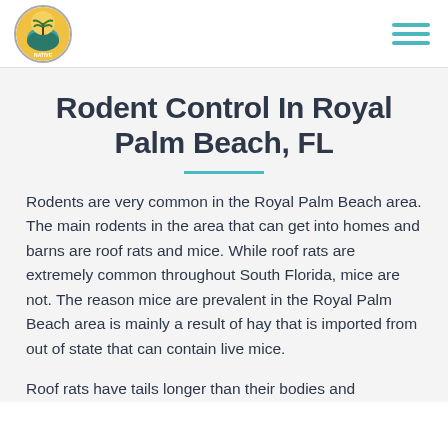Native [logo] [hamburger menu]
Rodent Control In Royal Palm Beach, FL
Rodents are very common in the Royal Palm Beach area. The main rodents in the area that can get into homes and barns are roof rats and mice. While roof rats are extremely common throughout South Florida, mice are not. The reason mice are prevalent in the Royal Palm Beach area is mainly a result of hay that is imported from out of state that can contain live mice.
Roof rats have tails longer than their bodies and